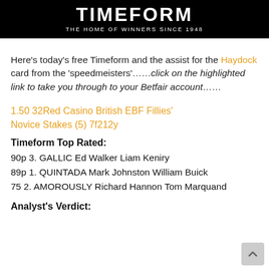[Figure (logo): Timeform logo — white bold text on black background reading TIMEFORM with tagline THE HOME OF WINNERS SINCE 1948]
Here's today's free Timeform and the assist for the Haydock card from the 'speedmeisters'……click on the highlighted link to take you through to your Betfair account……
1.50 32Red Casino British EBF Fillies' Novice Stakes (5) 7f212y
Timeform Top Rated:
90p 3. GALLIC Ed Walker Liam Keniry
89p 1. QUINTADA Mark Johnston William Buick
75 2. AMOROUSLY Richard Hannon Tom Marquand
Analyst's Verdict: